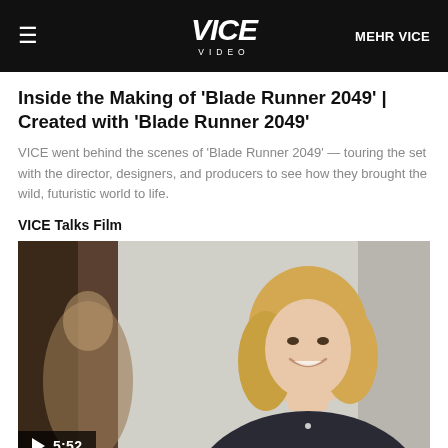VICE VIDEO | MEHR VICE
Inside the Making of 'Blade Runner 2049' | Created with 'Blade Runner 2049'
VICE went behind the scenes of 'Blade Runner 2049' — touring the set with the director, designers, and producers to see how they brought the wild, futuristic world to life.
VICE Talks Film
[Figure (photo): Video thumbnail showing a smiling blonde woman in a dark blazer with a play button overlay showing duration 5:52]